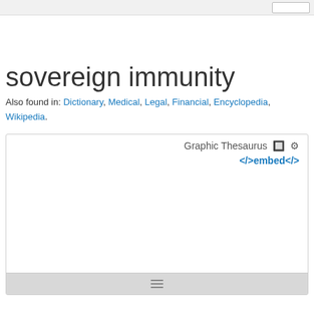sovereign immunity
Also found in: Dictionary, Medical, Legal, Financial, Encyclopedia, Wikipedia.
[Figure (other): Graphic Thesaurus embed widget panel with settings gear icon and embed code link </>embed</>]